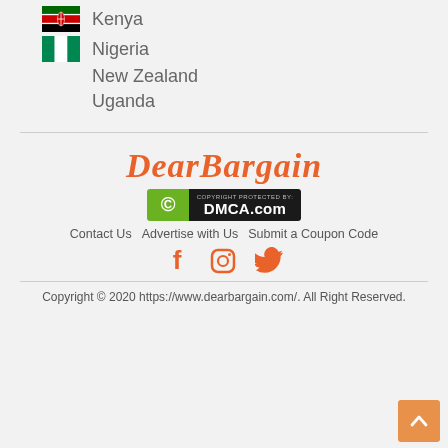Kenya
Nigeria
New Zealand
Uganda
[Figure (logo): DearBargain brand logo in orange italic script font]
[Figure (logo): DMCA.com Copyright Protected badge with green C circle and black text]
Contact Us   Advertise with Us   Submit a Coupon Code
[Figure (illustration): Facebook, Instagram, and Twitter social media icons in orange]
Copyright © 2020 https://www.dearbargain.com/. All Right Reserved.